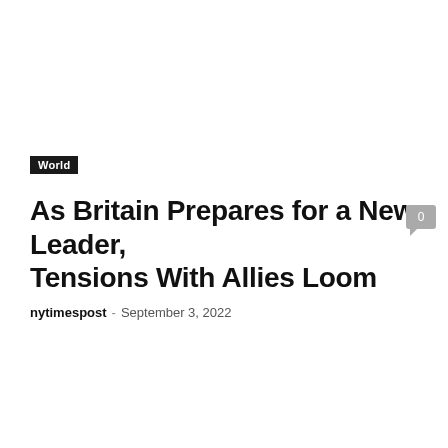World
As Britain Prepares for a New Leader, Tensions With Allies Loom
nytimespost - September 3, 2022